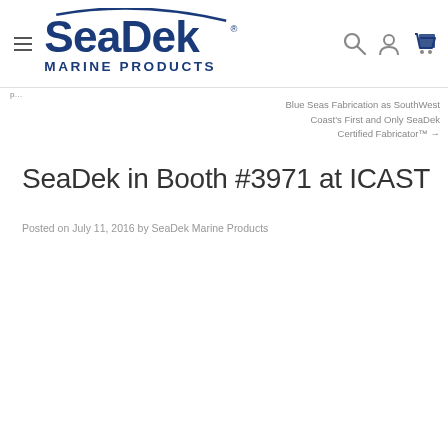SeaDek Marine Products
Blue Seas Fabrication as SouthWest Coast's First and Only SeaDek Certified Fabricator™ →
SeaDek in Booth #3971 at ICAST
Posted on July 11, 2016 by SeaDek Marine Products